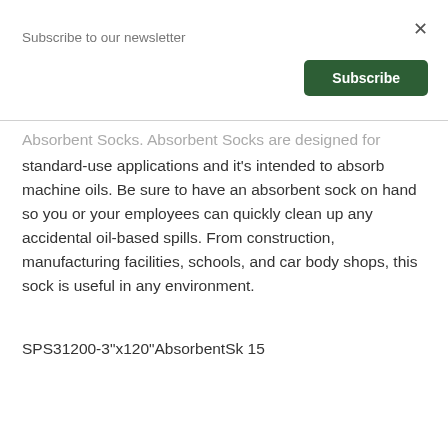Subscribe to our newsletter
Absorbent Socks. Absorbent Socks are designed for standard-use applications and it's intended to absorb machine oils. Be sure to have an absorbent sock on hand so you or your employees can quickly clean up any accidental oil-based spills. From construction, manufacturing facilities, schools, and car body shops, this sock is useful in any environment.
SPS31200-3"x120"AbsorbentSk 15